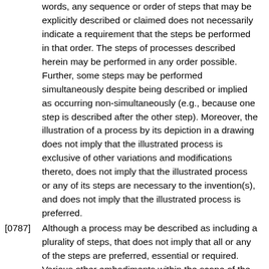words, any sequence or order of steps that may be explicitly described or claimed does not necessarily indicate a requirement that the steps be performed in that order. The steps of processes described herein may be performed in any order possible. Further, some steps may be performed simultaneously despite being described or implied as occurring non-simultaneously (e.g., because one step is described after the other step). Moreover, the illustration of a process by its depiction in a drawing does not imply that the illustrated process is exclusive of other variations and modifications thereto, does not imply that the illustrated process or any of its steps are necessary to the invention(s), and does not imply that the illustrated process is preferred.
[0787] Although a process may be described as including a plurality of steps, that does not imply that all or any of the steps are preferred, essential or required. Various other embodiments within the scope of the described invention(s) include other processes that omit some or all of the described